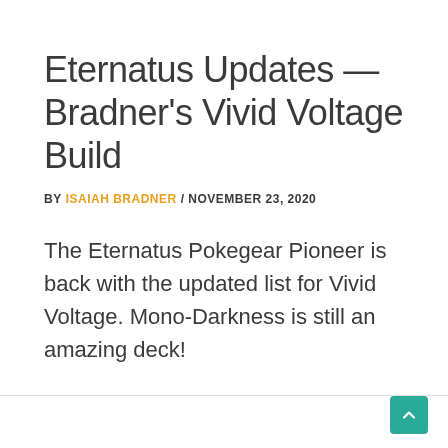Eternatus Updates — Bradner's Vivid Voltage Build
BY ISAIAH BRADNER / NOVEMBER 23, 2020
The Eternatus Pokegear Pioneer is back with the updated list for Vivid Voltage. Mono-Darkness is still an amazing deck!